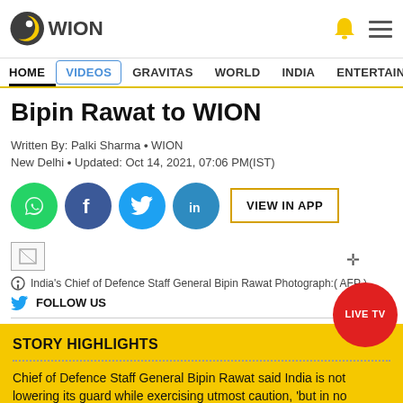[Figure (logo): WION news logo — dark circular icon with yellow crescent and white dot, followed by WION text in dark grey]
HOME  VIDEOS  GRAVITAS  WORLD  INDIA  ENTERTAINMENT  SPORTS
Bipin Rawat to WION
Written By: Palki Sharma • WION
New Delhi • Updated: Oct 14, 2021, 07:06 PM(IST)
[Figure (illustration): Social share buttons: WhatsApp (green), Facebook (dark blue), Twitter (light blue), LinkedIn (blue), and VIEW IN APP button with yellow border]
[Figure (photo): Small broken image placeholder]
India's Chief of Defence Staff General Bipin Rawat Photograph:( AFP )
FOLLOW US
STORY HIGHLIGHTS
Chief of Defence Staff General Bipin Rawat said India is not lowering its guard while exercising utmost caution, 'but in no